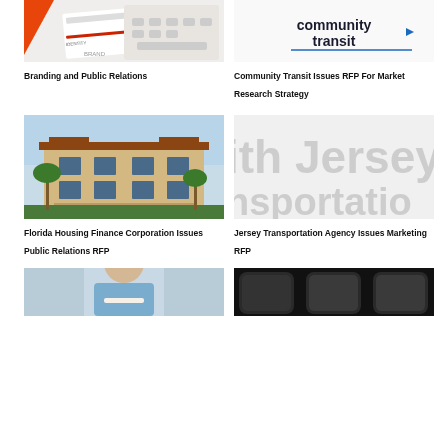[Figure (photo): Branding and identity materials photo with orange triangle and document]
Branding and Public Relations
[Figure (logo): Community Transit logo on white background]
Community Transit Issues RFP For Market Research Strategy
[Figure (photo): Florida residential apartment building with palm trees]
Florida Housing Finance Corporation Issues Public Relations RFP
[Figure (illustration): North Jersey Transportation text graphic, partially cropped]
Jersey Transportation Agency Issues Marketing RFP
[Figure (photo): Person writing or studying, partially cropped at bottom]
[Figure (screenshot): Dark mobile phone screens, partially cropped at bottom]